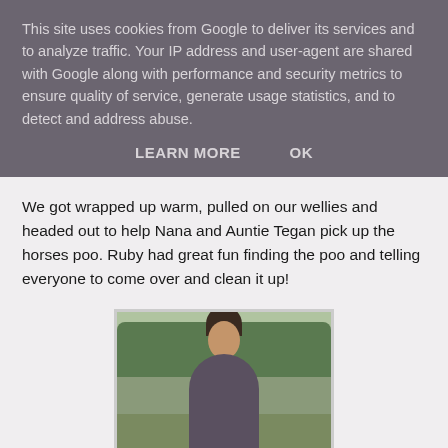This site uses cookies from Google to deliver its services and to analyze traffic. Your IP address and user-agent are shared with Google along with performance and security metrics to ensure quality of service, generate usage statistics, and to detect and address abuse.
LEARN MORE    OK
We got wrapped up warm, pulled on our wellies and headed out to help Nana and Auntie Tegan pick up the horses poo. Ruby had great fun finding the poo and telling everyone to come over and clean it up!
[Figure (photo): A woman bending over to help a small child in an outdoor field setting with green hedges and a fence in the background.]